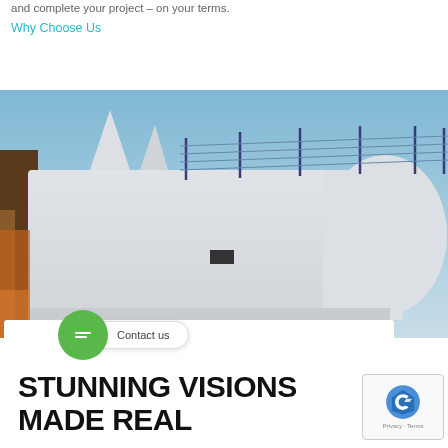and complete your project – on your terms.
Why Choose Us
[Figure (photo): White modern building exterior with metal cable railing on rooftop terrace against blue sky]
STUNNING VISIONS MADE REAL
[Figure (other): Green chat bubble icon with contact us pill button overlay]
[Figure (other): reCAPTCHA widget with Privacy and Terms links]